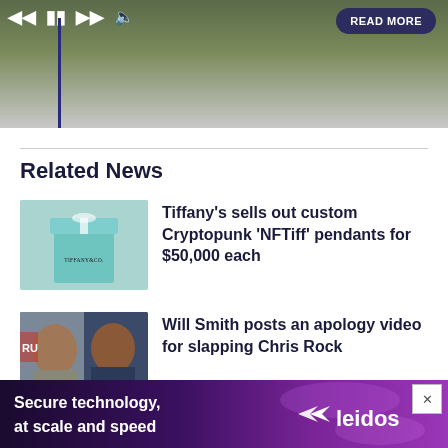[Figure (screenshot): Video player screenshot showing a sports player with media controls (skip back, pause, skip forward, mute) and a READ MORE button]
Related News
[Figure (photo): Tiffany & Co. teal gift box with white ribbon]
Tiffany's sells out custom Cryptopunk 'NFTiff' pendants for $50,000 each
[Figure (photo): Photo of Chris Rock and Will Smith side by side]
Will Smith posts an apology video for slapping Chris Rock
[Figure (screenshot): Advertisement banner: Secure technology, at scale and speed — leidos]